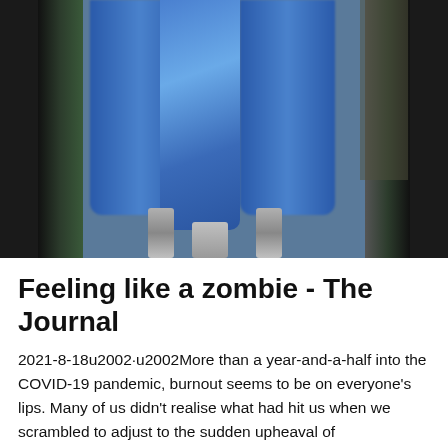[Figure (photo): Close-up blurred photo of a blue fabric or curtain hanging between dark window frames or metal poles, with metallic connectors visible at the bottom.]
Feeling like a zombie - The Journal
2021-8-18u2002·u2002More than a year-and-a-half into the COVID-19 pandemic, burnout seems to be on everyone's lips. Many of us didn't realise what had hit us when we scrambled to adjust to the sudden upheaval of